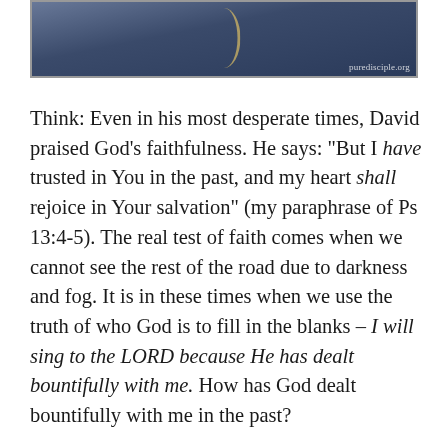[Figure (photo): Dark atmospheric photo of a person, with puredisciple.org watermark in bottom right corner.]
Think: Even in his most desperate times, David praised God’s faithfulness. He says: “But I have trusted in You in the past, and my heart shall rejoice in Your salvation” (my paraphrase of Ps 13:4-5). The real test of faith comes when we cannot see the rest of the road due to darkness and fog. It is in these times when we use the truth of who God is to fill in the blanks – I will sing to the LORD because He has dealt bountifully with me. How has God dealt bountifully with me in the past?